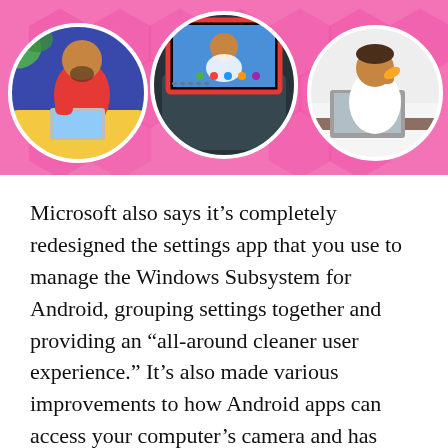[Figure (illustration): Illustrated banner showing three circular vignettes of people using laptops and computers, on a pink background with a hexagonal pattern. Left circle: person in red jacket reclining with laptop. Center circle: person on a video call on a laptop screen. Right circle: person at a desk with a laptop.]
Microsoft also says it's completely redesigned the settings app that you use to manage the Windows Subsystem for Android, grouping settings together and providing an “all-around cleaner user experience.” It’s also made various improvements to how Android apps can access your computer’s camera and has even improved the networking capabilities so you can set up smart home devices using an Android app running on your computer.
While these all sound like big improvements, you may want to hold off on trying to use the feature